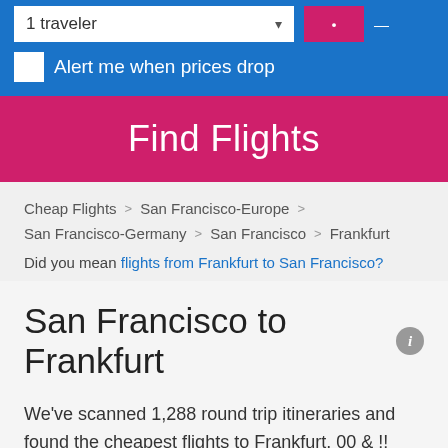1 traveler
Alert me when prices drop
Find Flights
Cheap Flights > San Francisco-Europe > San Francisco-Germany > San Francisco > Frankfurt
Did you mean flights from Frankfurt to San Francisco?
San Francisco to Frankfurt
We've scanned 1,288 round trip itineraries and found the cheapest flights to Frankfurt. 00 & !! frequently offer